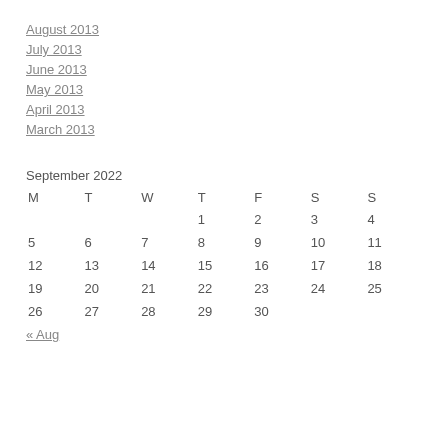August 2013
July 2013
June 2013
May 2013
April 2013
March 2013
September 2022
| M | T | W | T | F | S | S |
| --- | --- | --- | --- | --- | --- | --- |
|  |  |  | 1 | 2 | 3 | 4 |
| 5 | 6 | 7 | 8 | 9 | 10 | 11 |
| 12 | 13 | 14 | 15 | 16 | 17 | 18 |
| 19 | 20 | 21 | 22 | 23 | 24 | 25 |
| 26 | 27 | 28 | 29 | 30 |  |  |
« Aug